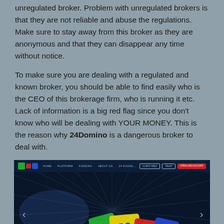unregulated broker. Problem with unregulated brokers is that they are not reliable and abuse the regulations. Make sure to stay away from this broker as they are anonymous and that they can disappear any time without notice.
To make sure you are dealing with a regulated and known broker, you should be able to find easily who is the CEO of this brokerage firm, who is running it etc. Lack of information is a big red flag since you don't know who will be dealing with YOUR MONEY. This is the reason why 24Domino is a dangerous broker to deal with.
[Figure (screenshot): Screenshot of the 24Domino broker website showing a dark navy background with radiating light rays, colorful domino tiles (green, yellow, red, blue) in the center spelling '24 DOMINO', a navigation bar at the top with logo and menu items, and left/right navigation arrows.]